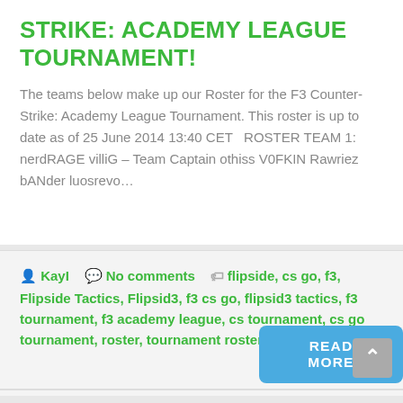STRIKE: ACADEMY LEAGUE TOURNAMENT!
The teams below make up our Roster for the F3 Counter-Strike: Academy League Tournament. This roster is up to date as of 25 June 2014 13:40 CET   ROSTER TEAM 1: nerdRAGE villiG – Team Captain othiss V0FKIN Rawriez bANder luosrevo…
Kayl  No comments  flipside, cs go, f3, Flipside Tactics, Flipsid3, f3 cs go, flipsid3 tactics, f3 tournament, f3 academy league, cs tournament, cs go tournament, roster, tournament roster,
READ MORE